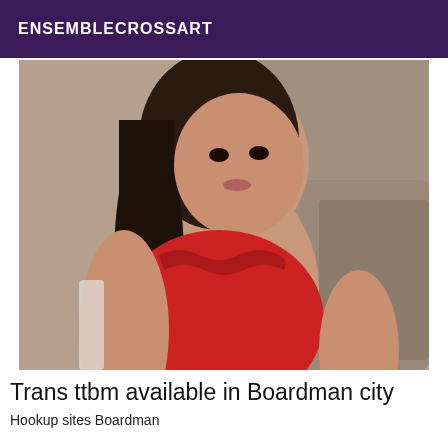ENSEMBLECROSSART
[Figure (photo): A woman with dark hair wearing a red lace top, photographed indoors against a neutral background.]
Trans ttbm available in Boardman city
Hookup sites Boardman